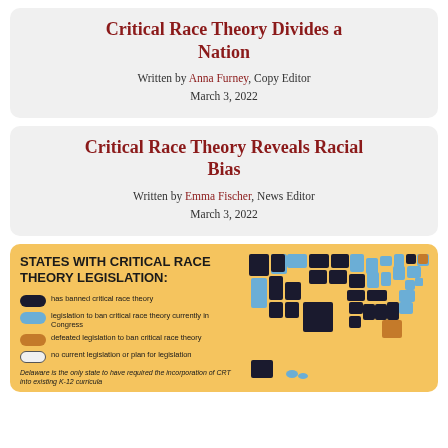Critical Race Theory Divides a Nation
Written by Anna Furney, Copy Editor
March 3, 2022
Critical Race Theory Reveals Racial Bias
Written by Emma Fischer, News Editor
March 3, 2022
[Figure (infographic): Infographic titled 'STATES WITH CRITICAL RACE THEORY LEGISLATION' on an orange/yellow background. Shows a color-coded US map with legend: dark/black = has banned critical race theory; blue = legislation to ban critical race theory currently in Congress; orange = defeated legislation to ban critical race theory; white outline = no current legislation or plan for legislation. Note: Delaware is the only state to have required the incorporation of CRT into existing K-12 curricula.]